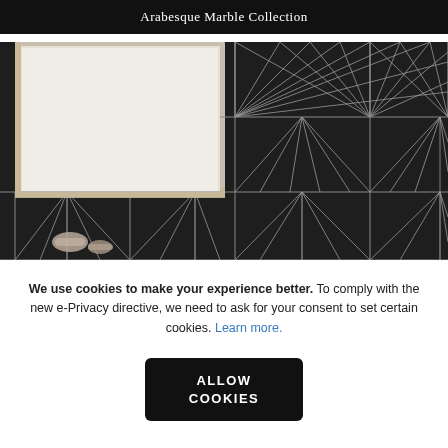Arabesque Marble Collection
[Figure (photo): Bathroom interior with dark geometric patterned tiles featuring radiating fan/starburst designs in white lines on dark background, with a framed mirror and metal faucet fixtures visible]
We use cookies to make your experience better. To comply with the new e-Privacy directive, we need to ask for your consent to set certain cookies. Learn more.
ALLOW COOKIES